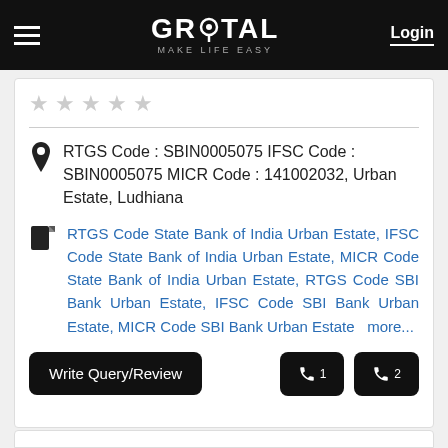GROTAL MAKE LIFE EASY | Login
RTGS Code : SBIN0005075 IFSC Code : SBIN0005075 MICR Code : 141002032, Urban Estate, Ludhiana
RTGS Code State Bank of India Urban Estate, IFSC Code State Bank of India Urban Estate, MICR Code State Bank of India Urban Estate, RTGS Code SBI Bank Urban Estate, IFSC Code SBI Bank Urban Estate, MICR Code SBI Bank Urban Estate  more...
Write Query/Review